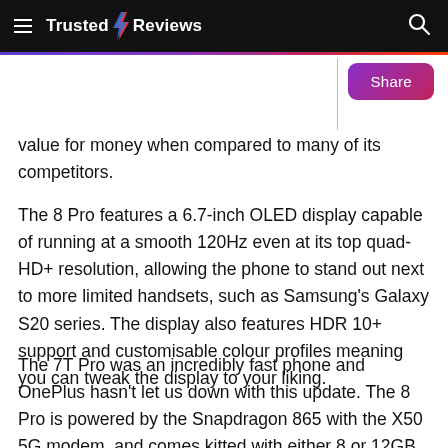Trusted Reviews
value for money when compared to many of its competitors.
The 8 Pro features a 6.7-inch OLED display capable of running at a smooth 120Hz even at its top quad-HD+ resolution, allowing the phone to stand out next to more limited handsets, such as Samsung's Galaxy S20 series. The display also features HDR 10+ support and customisable colour profiles meaning you can tweak the display to your liking.
The 7T Pro was an incredibly fast phone and OnePlus hasn't let us down with this update. The 8 Pro is powered by the Snapdragon 865 with the X50 5G modem, and comes kitted with either 8 or 12GB of RAM and 128 or